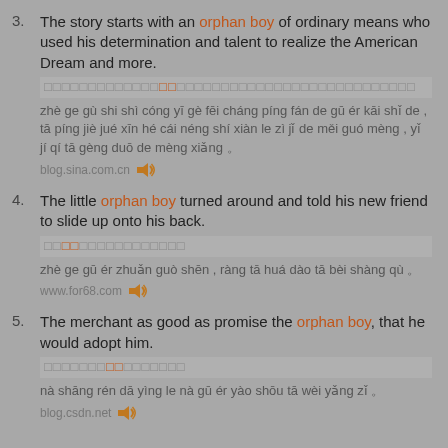3. The story starts with an orphan boy of ordinary means who used his determination and talent to realize the American Dream and more.
[Chinese characters] zhè ge gù shi shì cóng yī gè fēi cháng píng fán de gū ér kāi shǐ de , tā píng jiè jué xīn hé cái néng shí xiàn le zì jǐ de měi guó mèng , yǐ jí qí tā gèng duō de mèng xiǎng 。
blog.sina.com.cn [speaker]
4. The little orphan boy turned around and told his new friend to slide up onto his back.
[Chinese characters] zhè ge gū ér zhuǎn guò shēn , ràng tā huá dào tā bèi shàng qù 。
www.for68.com [speaker]
5. The merchant as good as promise the orphan boy, that he would adopt him.
[Chinese characters] nà shāng rén dā yìng le nà gū ér yào shōu tā wèi yǎng zǐ 。
blog.csdn.net [speaker]